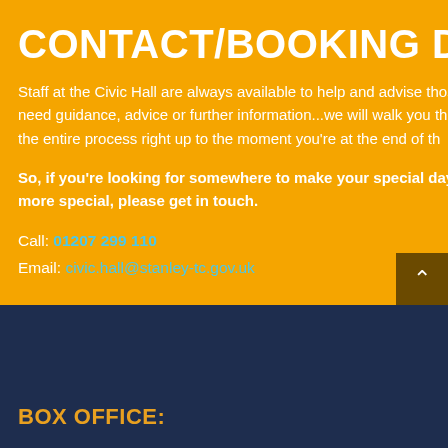CONTACT/BOOKING DETAILS
Staff at the Civic Hall are always available to help and advise those who need guidance, advice or further information...we will walk you through the entire process right up to the moment you're at the end of the...
So, if you're looking for somewhere to make your special day even more special, please get in touch.
Call: 01207 299 110
Email: civic.hall@stanley-tc.gov.uk
BOX OFFICE: